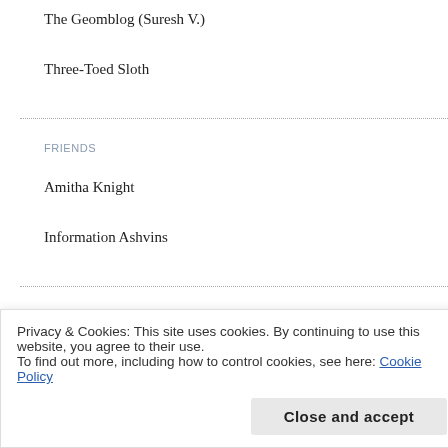The Geomblog (Suresh V.)
Three-Toed Sloth
FRIENDS
Amitha Knight
Information Ashvins
LIFE / FOOD / ETC.
MetaFilter
Privacy & Cookies: This site uses cookies. By continuing to use this website, you agree to their use.
To find out more, including how to control cookies, see here: Cookie Policy
Close and accept